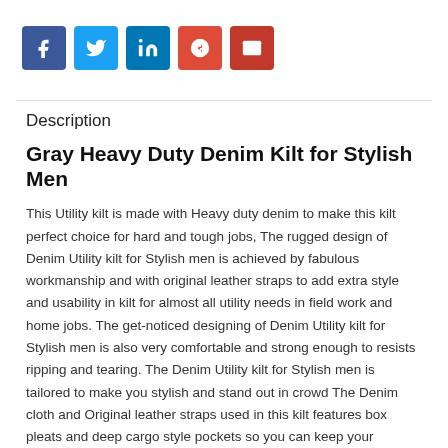[Figure (infographic): Row of 5 social media share buttons: Facebook (blue), Twitter (light blue), LinkedIn (blue), Google+ (red-orange), Email (red)]
Description
Gray Heavy Duty Denim Kilt for Stylish Men
This Utility kilt is made with Heavy duty denim to make this kilt perfect choice for hard and tough jobs, The rugged design of Denim Utility kilt for Stylish men is achieved by fabulous workmanship and with original leather straps to add extra style and usability in kilt for almost all utility needs in field work and home jobs. The get-noticed designing of Denim Utility kilt for Stylish men is also very comfortable and strong enough to resists ripping and tearing. The Denim Utility kilt for Stylish men is tailored to make you stylish and stand out in crowd The Denim cloth and Original leather straps used in this kilt features box pleats and deep cargo style pockets so you can keep your